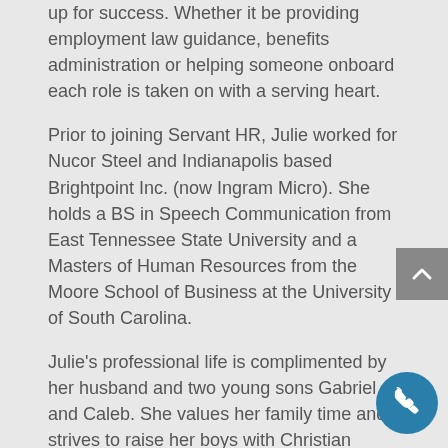up for success. Whether it be providing employment law guidance, benefits administration or helping someone onboard each role is taken on with a serving heart.
Prior to joining Servant HR, Julie worked for Nucor Steel and Indianapolis based Brightpoint Inc. (now Ingram Micro). She holds a BS in Speech Communication from East Tennessee State University and a Masters of Human Resources from the Moore School of Business at the University of South Carolina.
Julie's professional life is complimented by her husband and two young sons Gabriel and Caleb. She values her family time and strives to raise her boys with Christian values. When home, she can be found doing yoga or pilates, cooking up international dishes, or making her family laugh.